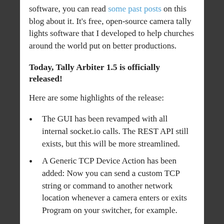software, you can read some past posts on this blog about it. It's free, open-source camera tally lights software that I developed to help churches around the world put on better productions.
Today, Tally Arbiter 1.5 is officially released!
Here are some highlights of the release:
The GUI has been revamped with all internal socket.io calls. The REST API still exists, but this will be more streamlined.
A Generic TCP Device Action has been added: Now you can send a custom TCP string or command to another network location whenever a camera enters or exits Program on your switcher, for example.